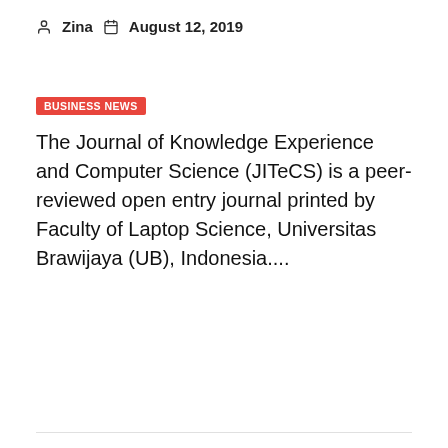Zina   August 12, 2019
BUSINESS NEWS
The Journal of Knowledge Experience and Computer Science (JITeCS) is a peer-reviewed open entry journal printed by Faculty of Laptop Science, Universitas Brawijaya (UB), Indonesia....
[Figure (illustration): Broken image placeholder with an open book icon in orange/yellow]